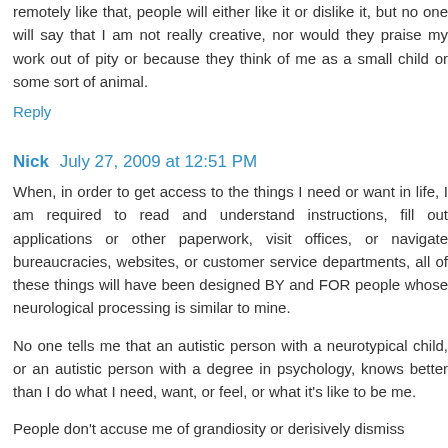remotely like that, people will either like it or dislike it, but no one will say that I am not really creative, nor would they praise my work out of pity or because they think of me as a small child or some sort of animal.
Reply
Nick  July 27, 2009 at 12:51 PM
When, in order to get access to the things I need or want in life, I am required to read and understand instructions, fill out applications or other paperwork, visit offices, or navigate bureaucracies, websites, or customer service departments, all of these things will have been designed BY and FOR people whose neurological processing is similar to mine.
No one tells me that an autistic person with a neurotypical child, or an autistic person with a degree in psychology, knows better than I do what I need, want, or feel, or what it's like to be me.
People don't accuse me of grandiosity or derisively dismiss